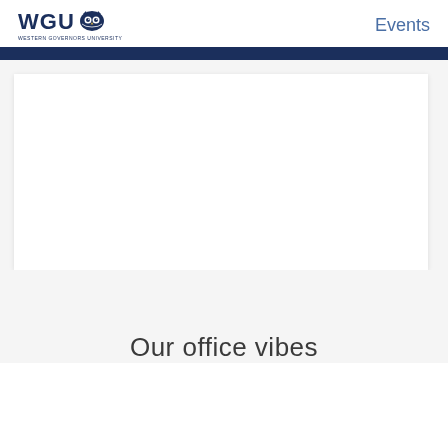WGU Western Governors University | Events
[Figure (photo): White blank image placeholder area with light background, representing an embedded image or video content on a WGU Events page.]
Our office vibes